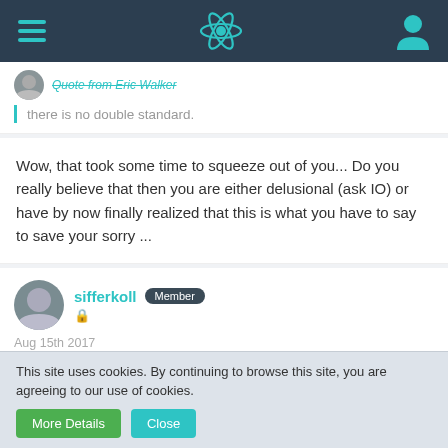[Figure (screenshot): Navigation bar with hamburger menu, React-style atom logo in teal, and user profile icon on dark background]
Quote from Eric Walker
there is no double standard.
Wow, that took some time to squeeze out of you... Do you really believe that then you are either delusional (ask IO) or have by now finally realized that this is what you have to say to save your sorry ...
sifferkoll
Member
Aug 15th 2017
This site uses cookies. By continuing to browse this site, you are agreeing to our use of cookies.
More Details
Close